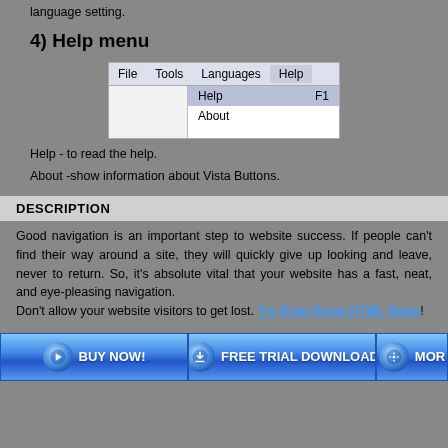The 'Languages' menu contains the list of available interface languages. English is the default language setting.
4) Help menu
[Figure (screenshot): Screenshot of a software menu bar showing File, Tools, Languages, Help menus, with Help menu open showing 'Help F1' (highlighted) and 'About' items]
Help - to read the help.
About -show information about Vista Buttons.
DESCRIPTION
Good navigation is an important step to website success. If people can't find their way around a site, they will quickly give up looking and leave, never to return. So, it's absolute vital that your website has a fast, neat, and eye-pleasing navigation.
Don't allow your website visitors to get lost. Try Drop Down HTML Menu!
[Figure (screenshot): Three buttons: BUY NOW!, FREE TRIAL DOWNLOAD, MORE (partially visible)]